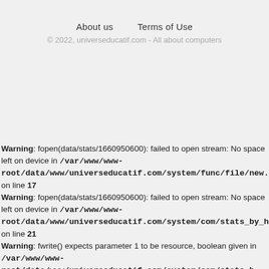About us    Terms of Use
© 2022, universeducatif.com - All about computers
Warning: fopen(data/stats/1660950600): failed to open stream: No space left on device in /var/www/www-root/data/www/universeducatif.com/system/func/file/new.ph on line 17
Warning: fopen(data/stats/1660950600): failed to open stream: No space left on device in /var/www/www-root/data/www/universeducatif.com/system/com/stats_by_h on line 21
Warning: fwrite() expects parameter 1 to be resource, boolean given in /var/www/www-root/data/www/universeducatif.com/system/com/stats_b...